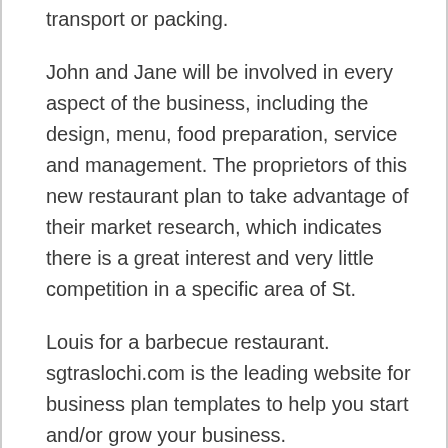transport or packing.
John and Jane will be involved in every aspect of the business, including the design, menu, food preparation, service and management. The proprietors of this new restaurant plan to take advantage of their market research, which indicates there is a great interest and very little competition in a specific area of St.
Louis for a barbecue restaurant. sgtraslochi.com is the leading website for business plan templates to help you start and/or grow your business.
Choose the business plan template from our site that best meets your needs using the featured business plan templates below or the categories above. In addition to certain guarantees provided by law, LegalZoom guarantees your satisfaction with our services and